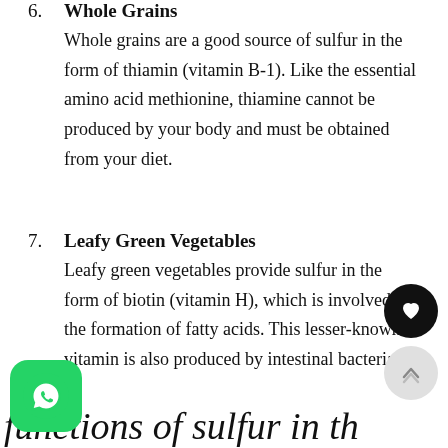6. Whole Grains — Whole grains are a good source of sulfur in the form of thiamin (vitamin B-1). Like the essential amino acid methionine, thiamine cannot be produced by your body and must be obtained from your diet.
7. Leafy Green Vegetables — Leafy green vegetables provide sulfur in the form of biotin (vitamin H), which is involved in the formation of fatty acids. This lesser-known vitamin is also produced by intestinal bacteria.
functions of sulfur in the
[Figure (illustration): Heart/like button (black circle with white heart icon) and scroll-to-top button (grey circle with chevron up icon) as UI overlays on the right side of the page.]
[Figure (logo): WhatsApp app icon — green rounded square with white phone/chat icon.]